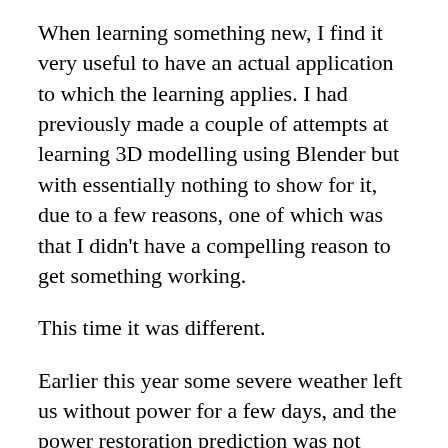When learning something new, I find it very useful to have an actual application to which the learning applies. I had previously made a couple of attempts at learning 3D modelling using Blender but with essentially nothing to show for it, due to a few reasons, one of which was that I didn't have a compelling reason to get something working.
This time it was different.
Earlier this year some severe weather left us without power for a few days, and the power restoration prediction was not looking good. In the face of that we decided to buy a generator, eventually deciding on a petrol driven 3KW model. As is typical, after the first 10 hours or running the first oil change